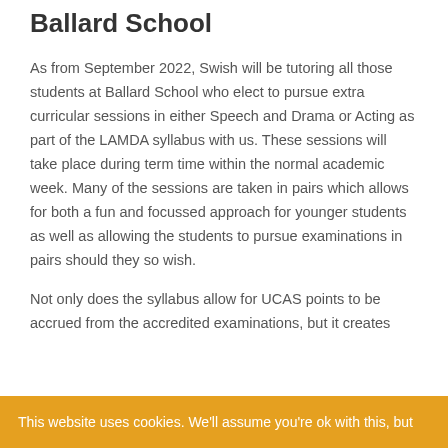Ballard School
As from September 2022, Swish will be tutoring all those students at Ballard School who elect to pursue extra curricular sessions in either Speech and Drama or Acting as part of the LAMDA syllabus with us. These sessions will take place during term time within the normal academic week. Many of the sessions are taken in pairs which allows for both a fun and focussed approach for younger students as well as allowing the students to pursue examinations in pairs should they so wish.
Not only does the syllabus allow for UCAS points to be accrued from the accredited examinations, but it creates
This website uses cookies. We'll assume you're ok with this, but